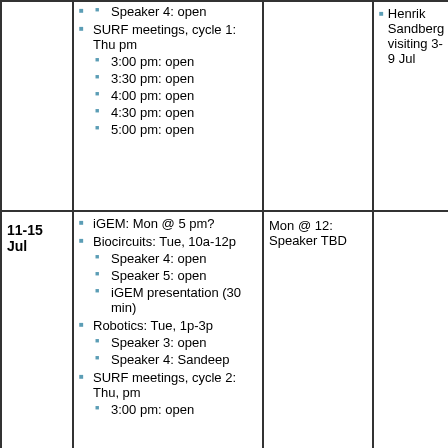| Date | Schedule | Lunch | Notes |
| --- | --- | --- | --- |
|  | Speaker 4: open
SURF meetings, cycle 1: Thu pm
3:00 pm: open
3:30 pm: open
4:00 pm: open
4:30 pm: open
5:00 pm: open |  | Henrik Sandberg visiting 3-9 Jul |
| 11-15 Jul | iGEM: Mon @ 5 pm?
Biocircuits: Tue, 10a-12p
Speaker 4: open
Speaker 5: open
iGEM presentation (30 min)
Robotics: Tue, 1p-3p
Speaker 3: open
Speaker 4: Sandeep
SURF meetings, cycle 2: Thu, pm
3:00 pm: open | Mon @ 12: Speaker TBD |  |